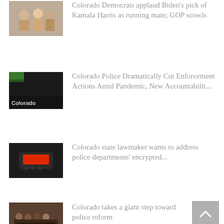[Figure (photo): Group of people, partial view at top of page]
Colorado Democrats applaud Biden's pick of Kamala Harris as running mate; GOP scowls
[Figure (photo): Dark image with Colorado text overlay]
Colorado Police Dramatically Cut Enforcement Actions Amid Pandemic, New Accountabilit...
[Figure (photo): Dark image with red glowing device/radio]
Colorado state lawmaker wants to address police departments' encrypted...
[Figure (photo): People gathered at a formal event or meeting]
Colorado takes a giant step toward police reform
[Figure (photo): Partial image at bottom of page, people]